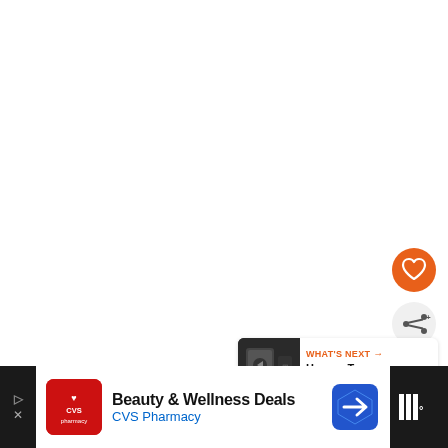[Figure (screenshot): White empty content area (video/article page background)]
[Figure (illustration): Orange circular favorite/heart button]
[Figure (illustration): White circular share button with share icon]
[Figure (screenshot): What's Next card with thumbnail and text: WHAT'S NEXT → Hex vs. Torx Screws & Bi...]
[Figure (screenshot): Advertisement banner: Beauty & Wellness Deals - CVS Pharmacy]